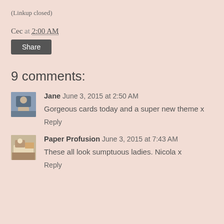(Linkup closed)
Cec at 2:00 AM
Share
9 comments:
Jane  June 3, 2015 at 2:50 AM
Gorgeous cards today and a super new theme x
Reply
Paper Profusion  June 3, 2015 at 7:43 AM
These all look sumptuous ladies. Nicola x
Reply